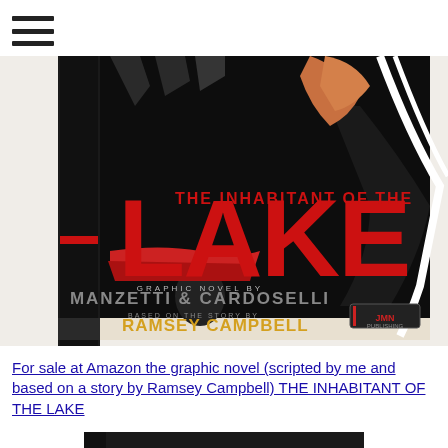☰ (hamburger menu icon)
[Figure (photo): Book cover of 'The Inhabitant of the Lake' graphic novel by Manzetti & Cardoselli, based on a story by Ramsey Campbell. Dark/black cover with large red letters spelling LAKE, with 'THE INHABITANT OF THE' above in smaller red text. Authors' names in gold/red at bottom. Publisher logo in bottom right.]
For sale at Amazon the graphic novel (scripted by me and based on a story by Ramsey Campbell) THE INHABITANT OF THE LAKE
[Figure (photo): Partial view of another dark book cover at the bottom of the page, mostly cropped.]